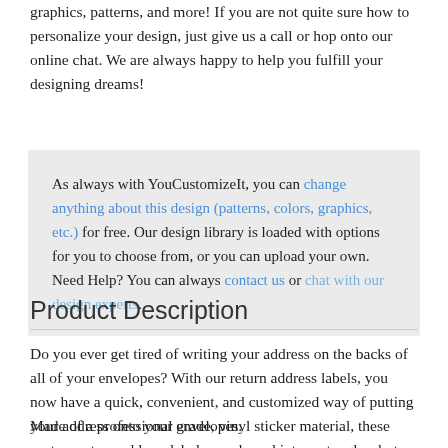graphics, patterns, and more! If you are not quite sure how to personalize your design, just give us a call or hop onto our online chat. We are always happy to help you fulfill your designing dreams!
As always with YouCustomizeIt, you can change anything about this design (patterns, colors, graphics, etc.) for free. Our design library is loaded with options for you to choose from, or you can upload your own. Need Help? You can always contact us or chat with our design experts.
Product Description
Do you ever get tired of writing your address on the backs of all of your envelopes? With our return address labels, you now have a quick, convenient, and customized way of putting your address onto your envelopes.
Made of a professional grade, vinyl sticker material, these custom return address labels are shaped into rectangles, but the beautifully rounded edges give the address labels an